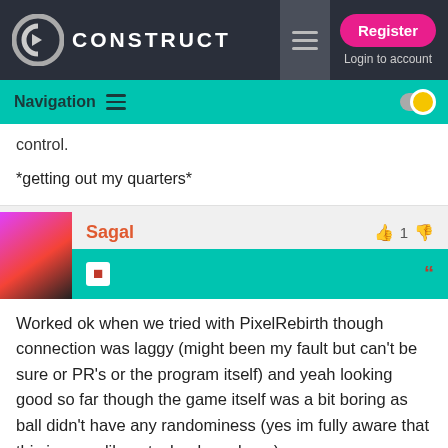CONSTRUCT — Register | Login to account
Navigation
control.
*getting out my quarters*
Sagal
Worked ok when we tried with PixelRebirth though connection was laggy (might been my fault but can't be sure or PR's or the program itself) and yeah looking good so far though the game itself was a bit boring as ball didn't have any randominess (yes im fully aware that this is more like a technology demo)